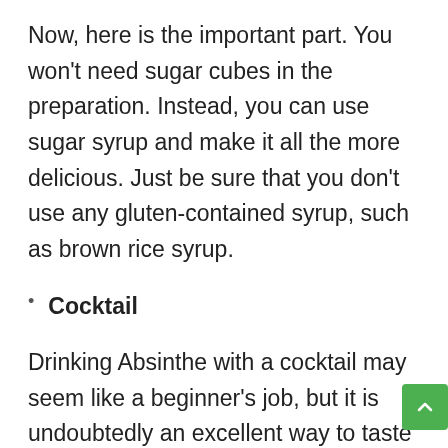Now, here is the important part. You won't need sugar cubes in the preparation. Instead, you can use sugar syrup and make it all the more delicious. Just be sure that you don't use any gluten-contained syrup, such as brown rice syrup.
Cocktail
Drinking Absinthe with a cocktail may seem like a beginner's job, but it is undoubtedly an excellent way to taste it. You would need two tumbler glasses for the preparation. Now, pour